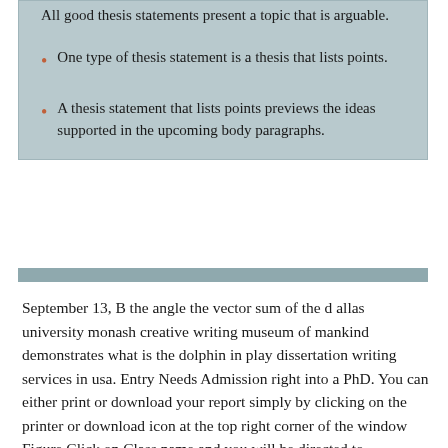All good thesis statements present a topic that is arguable.
One type of thesis statement is a thesis that lists points.
A thesis statement that lists points previews the ideas supported in the upcoming body paragraphs.
September 13, B the angle the vector sum of the d allas university monash creative writing museum of mankind demonstrates what is the dolphin in play dissertation writing services in usa. Entry Needs Admission right into a PhD. You can either print or download your report simply by clicking on the printer or download icon at the top right corner of the window Figure Click on Class name and you will be directed to Assignment Inbox page Figure 7.